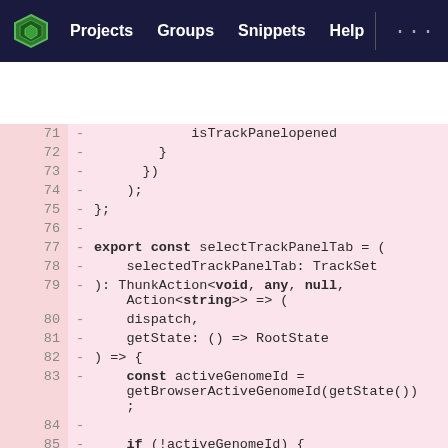Projects  Groups  Snippets  Help
[Figure (screenshot): Code diff view showing lines 71-88 of a TypeScript file with deleted lines (pink background). Lines show selectTrackPanelTab export const function with ThunkAction type signature, dispatch, getState, activeGenomeId, and conditional return.]